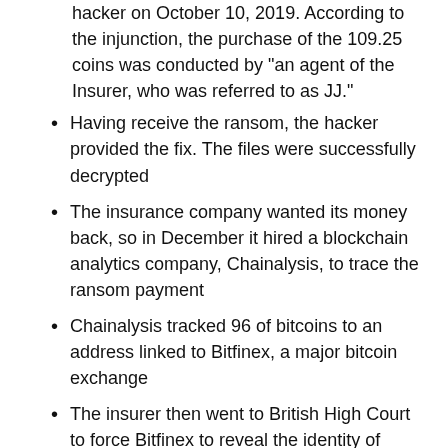hacker on October 10, 2019. According to the injunction, the purchase of the 109.25 coins was conducted by "an agent of the Insurer, who was referred to as JJ."
Having receive the ransom, the hacker provided the fix. The files were successfully decrypted
The insurance company wanted its money back, so in December it hired a blockchain analytics company, Chainalysis, to trace the ransom payment
Chainalysis tracked 96 of bitcoins to an address linked to Bitfinex, a major bitcoin exchange
The insurer then went to British High Court to force Bitfinex to reveal the identity of "PERSONS UNKNOWN WHO OWN/CONTROL SPECIFIED BITCOIN" and to freeze the 96 bitcoins.
So were the 96 bitcoins returned to the insurer?
For now, we don't know the final outcome. The document